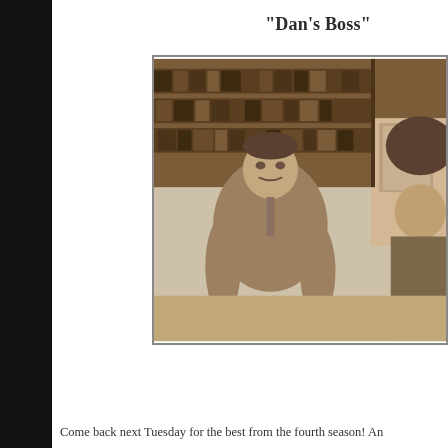“Dan’s Boss”
[Figure (photo): Black and white / sepia-toned TV still showing a heavyset man in a three-piece suit standing in an office with bookshelves, facing another man partially visible on the right side of the frame.]
Come back next Tuesday for the best from the fourth season! An